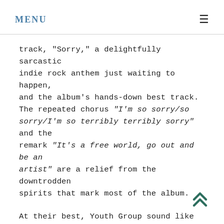MENU
track, "Sorry," a delightfully sarcastic indie rock anthem just waiting to happen, and the album's hands-down best track. The repeated chorus “I’m so sorry/so sorry/I’m so terribly terribly sorry” and the remark “It’s a free world, go out and be an artist” are a relief from the downtrodden spirits that mark most of the album.
At their best, Youth Group sound like they’re still stuck in the 90s era of guitar-driven indie on songs like "Dead